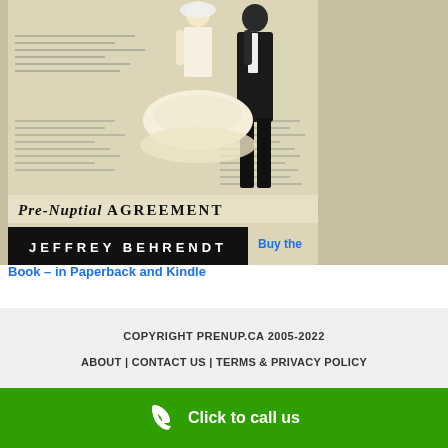[Figure (photo): Book cover image showing wedding cake topper figurines (bride in white dress, groom in black suit) standing on a pre-nuptial agreement document. Below the figurines is text reading 'Pre-Nuptial AGREEMENT' and a black bar with 'JEFFREY BEHRENDT' in white letters.]
Buy the Book – in Paperback and Kindle
COPYRIGHT PRENUP.CA 2005-2022
ABOUT | CONTACT US | TERMS & PRIVACY POLICY
Click to call us